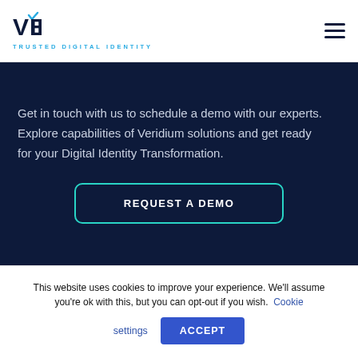VERIDIUM TRUSTED DIGITAL IDENTITY
Get in touch with us to schedule a demo with our experts. Explore capabilities of Veridium solutions and get ready for your Digital Identity Transformation.
REQUEST A DEMO
This website uses cookies to improve your experience. We'll assume you're ok with this, but you can opt-out if you wish. Cookie settings ACCEPT